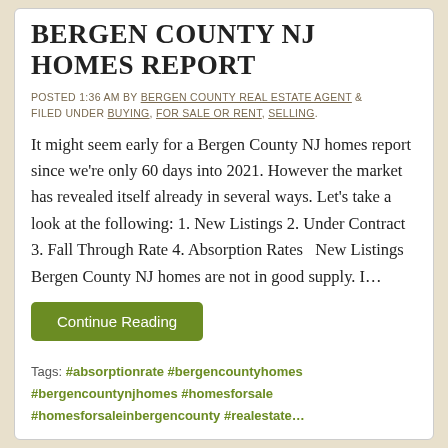BERGEN COUNTY NJ HOMES REPORT
POSTED 1:36 AM BY BERGEN COUNTY REAL ESTATE AGENT & FILED UNDER BUYING, FOR SALE OR RENT, SELLING.
It might seem early for a Bergen County NJ homes report since we're only 60 days into 2021.  However the market has revealed itself already in several ways.  Let's take a look at the following: 1.  New Listings 2.  Under Contract 3.  Fall Through Rate 4.  Absorption Rates   New Listings Bergen County NJ homes are not in good supply.  I…
Continue Reading
Tags:  #absorptionrate  #bergencountyhomes  #bergencountynjhomes  #homesforsale  #homesforsaleinbergencounty  #realestate…